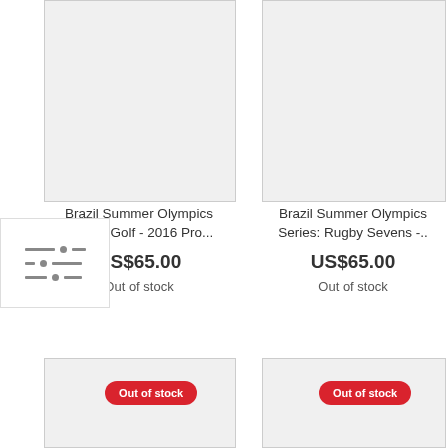[Figure (screenshot): Filter/sort icon button with three horizontal sliders in a white box]
[Figure (photo): Product image placeholder (gray box) for Brazil Summer Olympics Series: Golf - 2016 Pro...]
Brazil Summer Olympics Series: Golf - 2016 Pro...
US$65.00
Out of stock
[Figure (photo): Product image placeholder (gray box) for Brazil Summer Olympics Series: Rugby Sevens -..]
Brazil Summer Olympics Series: Rugby Sevens -..
US$65.00
Out of stock
[Figure (photo): Product image placeholder (gray box) with Out of stock badge]
[Figure (photo): Product image placeholder (gray box) with Out of stock badge]